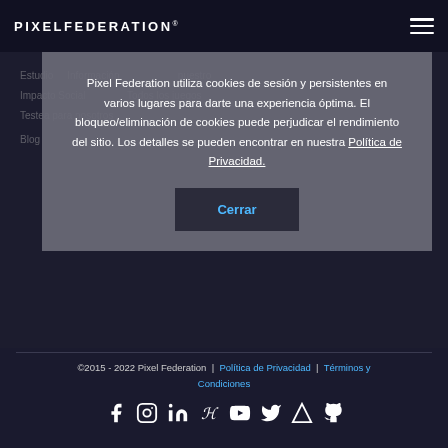PIXELFEDERATION®
Pixel Federation utiliza cookies de sesión y persistentes en varios lugares para darte una experiencia óptima. El bloqueo/eliminación de cookies puede perjudicar el rendimiento del sitio. Los detalles se pueden encontrar en nuestra Política de Privacidad.
Cerrar
©2015 - 2022 Pixel Federation  |  Política de Privacidad  |  Términos y Condiciones